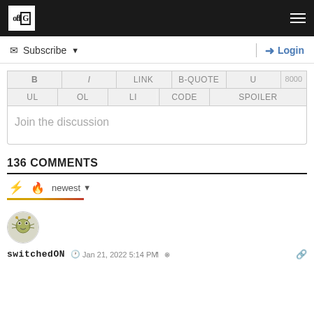offG (logo) | hamburger menu
✉ Subscribe ▼     | ➜ Login
| B | I | LINK | B-QUOTE | U | 8000 |
| --- | --- | --- | --- | --- | --- |
| UL | OL | LI | CODE | SPOILER |  |
Join the discussion
136 COMMENTS
⚡ 🔥 newest ▼
[Figure (illustration): User avatar: cartoon bug/creature illustration in circular frame]
switchedON  🕐 Jan 21, 2022 5:14 PM  🔗